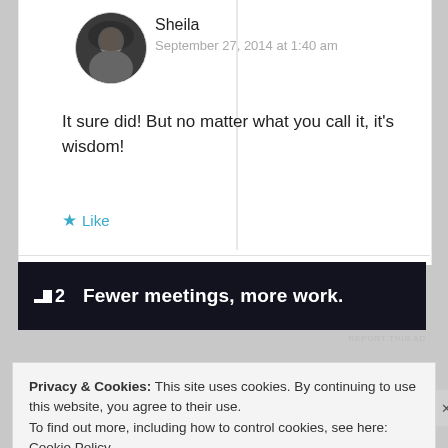Sheila
September 27, 2014 at 1:40 am
It sure did! But no matter what you call it, it's wisdom!
★ Like
[Figure (photo): Avatar/profile photo of Sheila, circular crop, dark tones]
Fewer meetings, more work. (Advertisement banner for P2)
REPORT THIS AD
Privacy & Cookies: This site uses cookies. By continuing to use this website, you agree to their use.
To find out more, including how to control cookies, see here: Cookie Policy
Close and accept